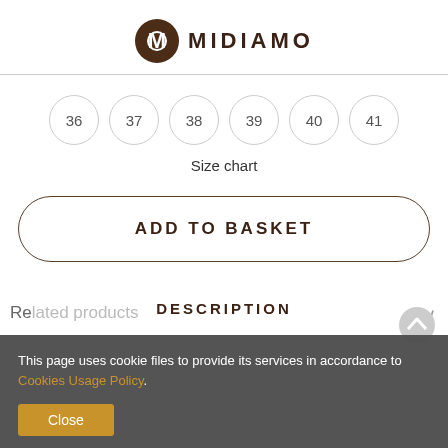MIDIAMO
36
37
38
39
40
41
Size chart
ADD TO BASKET
DESCRIPTION
This page uses cookie files to provide its services in accordance to Cookies Usage Policy.
Close